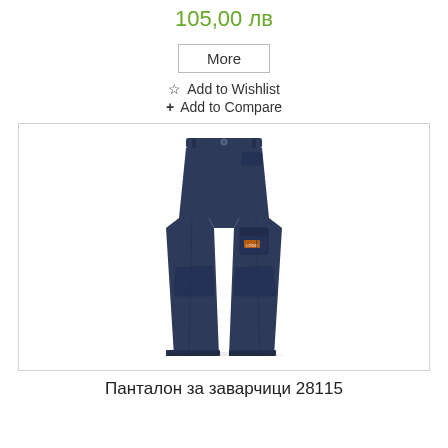105,00 лв
More
☆ Add to Wishlist
+ Add to Compare
[Figure (photo): Navy blue cargo work trousers / welding pants (Панталон за заварчици 28115) with multiple pockets and knee reinforcements, shown on white background.]
Панталон за заварчици 28115